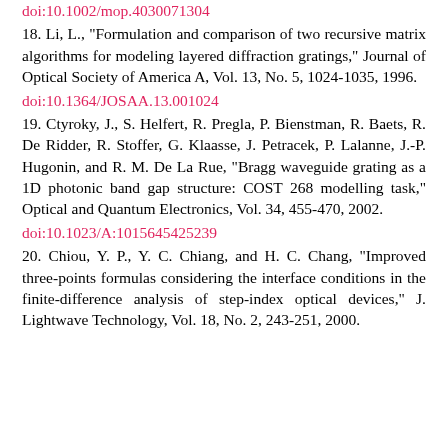doi:10.1002/mop.4030071304
18. Li, L., "Formulation and comparison of two recursive matrix algorithms for modeling layered diffraction gratings," Journal of Optical Society of America A, Vol. 13, No. 5, 1024-1035, 1996.
doi:10.1364/JOSAA.13.001024
19. Ctyroky, J., S. Helfert, R. Pregla, P. Bienstman, R. Baets, R. De Ridder, R. Stoffer, G. Klaasse, J. Petracek, P. Lalanne, J.-P. Hugonin, and R. M. De La Rue, "Bragg waveguide grating as a 1D photonic band gap structure: COST 268 modelling task," Optical and Quantum Electronics, Vol. 34, 455-470, 2002.
doi:10.1023/A:1015645425239
20. Chiou, Y. P., Y. C. Chiang, and H. C. Chang, "Improved three-points formulas considering the interface conditions in the finite-difference analysis of step-index optical devices," J. Lightwave Technology, Vol. 18, No. 2, 243-251, 2000.